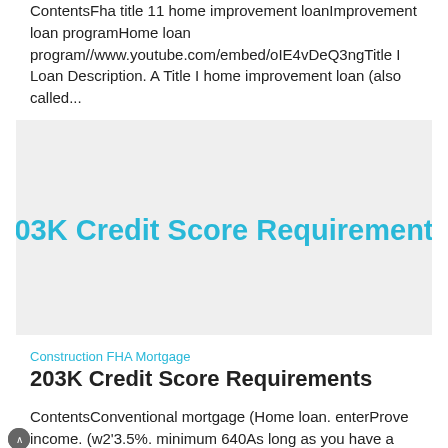ContentsFha title 11 home improvement loanImprovement loan programHome loan program//www.youtube.com/embed/oIE4vDeQ3ngTitle I Loan Description. A Title I home improvement loan (also called...
[Figure (other): Gray banner card displaying heading '203K Credit Score Requirements' in cyan/teal bold text on a light gray background]
Construction FHA Mortgage
203K Credit Score Requirements
ContentsConventional mortgage (Home loan. enterProve income. (w2'3.5%. minimum 640As long as you have a credit score greater than 500, you can...